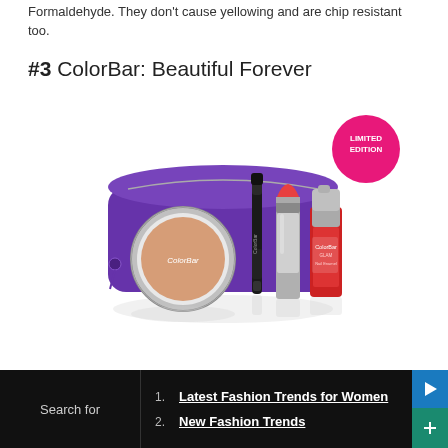Formaldehyde. They don't cause yellowing and are chip resistant too.
#3 ColorBar: Beautiful Forever
[Figure (photo): ColorBar beauty product set including a blush compact, eyeliner, lipstick, and nail polish arranged in front of a purple makeup bag. A pink 'Limited Edition' badge is visible in the upper right.]
1. Latest Fashion Trends for Women
2. New Fashion Trends
Search for